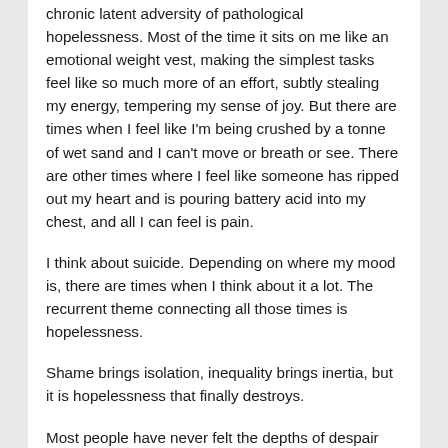chronic latent adversity of pathological hopelessness. Most of the time it sits on me like an emotional weight vest, making the simplest tasks feel like so much more of an effort, subtly stealing my energy, tempering my sense of joy. But there are times when I feel like I'm being crushed by a tonne of wet sand and I can't move or breath or see. There are other times where I feel like someone has ripped out my heart and is pouring battery acid into my chest, and all I can feel is pain.
I think about suicide. Depending on where my mood is, there are times when I think about it a lot. The recurrent theme connecting all those times is hopelessness.
Shame brings isolation, inequality brings inertia, but it is hopelessness that finally destroys.
Most people have never felt the depths of despair that true hopelessness brings, and I hope they never do. Unless you've been there, it's impossible to truly understand how overwhelming it is. The only way I think I could describe it and best approximate the experience to